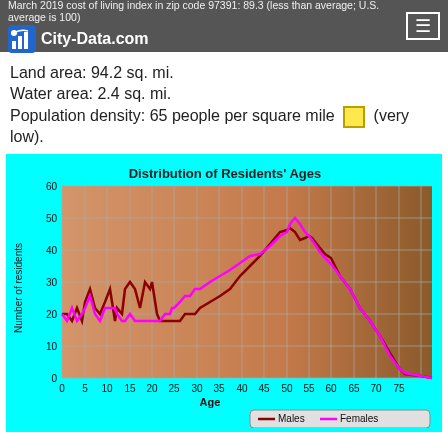March 2019 cost of living index in zip code 97391: 89.3 (less than average; U.S. average is 100)
Land area: 94.2 sq. mi.
Water area: 2.4 sq. mi.
Population density: 65 people per square mile (very low).
[Figure (continuous-plot): Line chart showing distribution of residents' ages for males (dark red) and females (magenta) in zip code 97391. X-axis: Age 0-85. Y-axis: Number of residents 0-60. Both lines start around 25-35 for young ages with oscillating pattern, then rise to peaks around age 55-60 (males ~48, females ~52), then decline sharply toward age 85.]